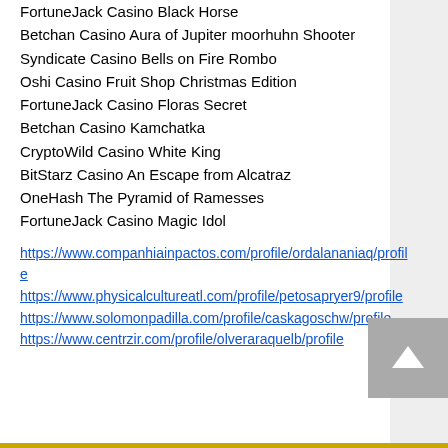FortuneJack Casino Black Horse
Betchan Casino Aura of Jupiter moorhuhn Shooter
Syndicate Casino Bells on Fire Rombo
Oshi Casino Fruit Shop Christmas Edition
FortuneJack Casino Floras Secret
Betchan Casino Kamchatka
CryptoWild Casino White King
BitStarz Casino An Escape from Alcatraz
OneHash The Pyramid of Ramesses
FortuneJack Casino Magic Idol
https://www.companhiainpactos.com/profile/ordalananiaq/profile
https://www.physicalcultureatl.com/profile/petosapryer9/profile
https://www.solomonpadilla.com/profile/caskagoschw/profile
https://www.centrzir.com/profile/olveraraquelb/profile